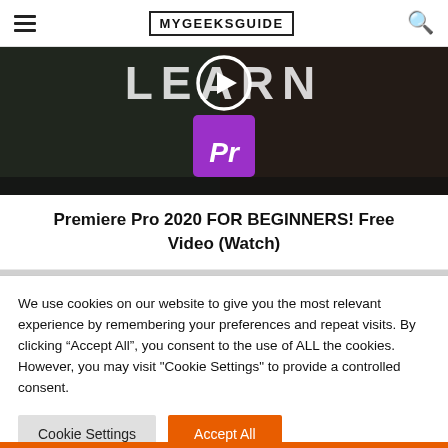MYGEEKSGUIDE
[Figure (screenshot): Thumbnail for Adobe Premiere Pro 2020 tutorial video showing 'LEARN' text, a play button circle, and the purple Premiere Pro logo icon on a dark background]
Premiere Pro 2020 FOR BEGINNERS! Free Video (Watch)
We use cookies on our website to give you the most relevant experience by remembering your preferences and repeat visits. By clicking “Accept All”, you consent to the use of ALL the cookies. However, you may visit "Cookie Settings" to provide a controlled consent.
Cookie Settings
Accept All